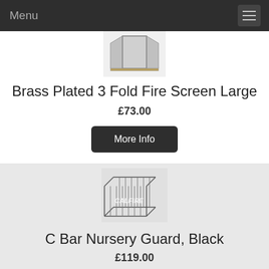Menu
[Figure (photo): Brass Plated 3 Fold Fire Screen product image showing a folding fireplace screen]
Brass Plated 3 Fold Fire Screen Large
£73.00
More Info
[Figure (photo): C Bar Nursery Guard Black product image showing a rectangular wire guard with CALFIRE watermark]
C Bar Nursery Guard, Black
£119.00
More Info